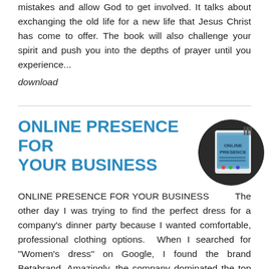mistakes and allow God to get involved. It talks about exchanging the old life for a new life that Jesus Christ has come to offer. The book will also challenge your spirit and push you into the depths of prayer until you experience...
download
ONLINE PRESENCE FOR YOUR BUSINESS
[Figure (photo): Circular image of a laptop/tablet showing a book cover with text 'ONLINE PRESENCE' on a blue background, with a dark background and barcode visible.]
ONLINE PRESENCE FOR YOUR BUSINESS         The other day I was trying to find the perfect dress for a company's dinner party because I wanted comfortable, professional clothing options.  When I searched for "Women's dress" on Google, I found the brand Betabrand. Amazingly, the company dominated the top four search results. The first two results were their website, the third was their Amazon page, and the fourth was a